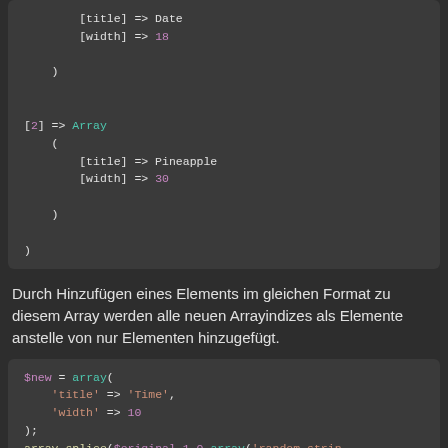[Figure (screenshot): Code block showing PHP array output with [title] => Date, [width] => 18, [2] => Array with [title] => Pineapple, [width] => 30]
Durch Hinzufügen eines Elements im gleichen Format zu diesem Array werden alle neuen Arrayindizes als Elemente anstelle von nur Elementen hinzugefügt.
[Figure (screenshot): PHP code block: $new = array('title' => 'Time', 'width' => 10); array_splice($original,1,0,array('random_string')); // can be more items]